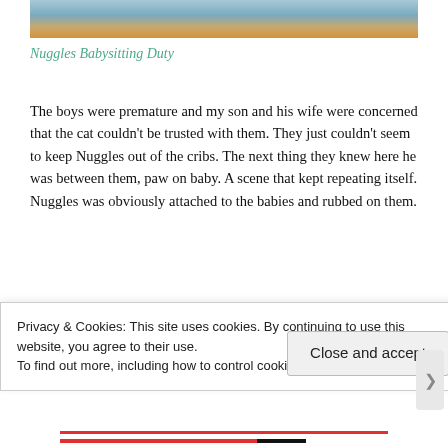[Figure (photo): Partial photo at top of page showing what appears to be a baby in a crib with blue blanket and wooden rail, with orange background on right side]
Nuggles Babysitting Duty
The boys were premature and my son and his wife were concerned that the cat couldn't be trusted with them. They just couldn't seem to keep Nuggles out of the cribs. The next thing they knew here he was between them, paw on baby. A scene that kept repeating itself. Nuggles was obviously attached to the babies and rubbed on them.
[Figure (photo): Partial dark photo visible at bottom behind cookie banner]
Privacy & Cookies: This site uses cookies. By continuing to use this website, you agree to their use.
To find out more, including how to control cookies, see here: Cookie Policy
Close and accept